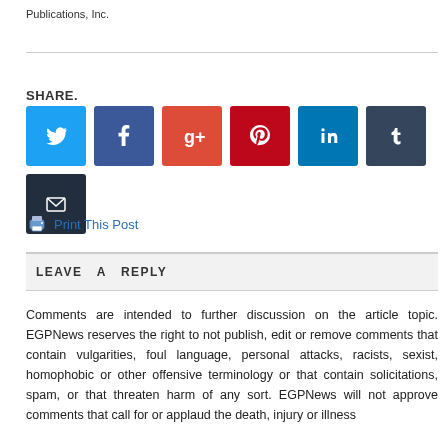Publications, Inc.
SHARE.
[Figure (other): Social media share buttons: Twitter, Facebook, Google+, Pinterest, LinkedIn, Tumblr, Email]
Print This Post
LEAVE A REPLY
Comments are intended to further discussion on the article topic. EGPNews reserves the right to not publish, edit or remove comments that contain vulgarities, foul language, personal attacks, racists, sexist, homophobic or other offensive terminology or that contain solicitations, spam, or that threaten harm of any sort. EGPNews will not approve comments that call for or applaud the death, injury or illness